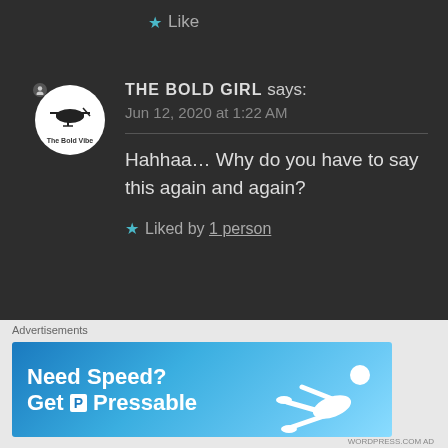Like
THE BOLD GIRL says:
Jun 12, 2020 at 1:22 AM
Hahhaa... Why do you have to say this again and again?
Liked by 1 person
MOHAMAD TOUTOUHI
Advertisements
[Figure (infographic): Advertisement banner for Pressable hosting with text 'Need Speed? Get Pressable' and image of footballer sliding]